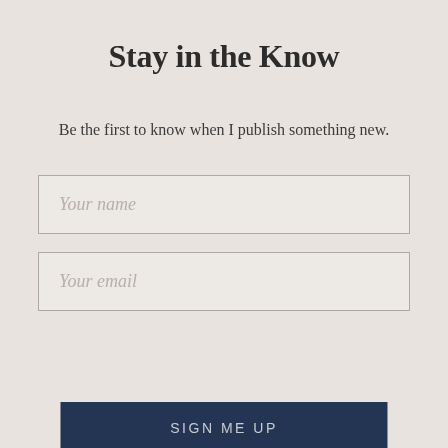Stay in the Know
Be the first to know when I publish something new.
Your name
Your email
SIGN ME UP